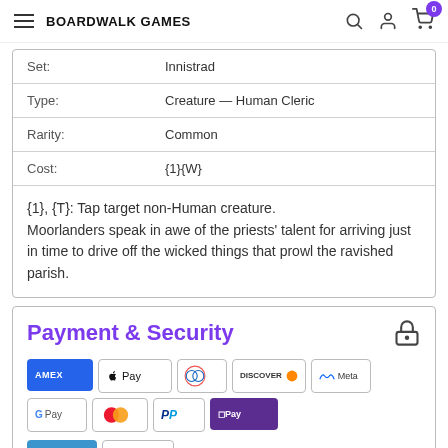BOARDWALK GAMES
| Field | Value |
| --- | --- |
| Set: | Innistrad |
| Type: | Creature — Human Cleric |
| Rarity: | Common |
| Cost: | {1}{W} |
{1}, {T}: Tap target non-Human creature. Moorlanders speak in awe of the priests' talent for arriving just in time to drive off the wicked things that prowl the ravished parish.
Payment & Security
[Figure (logo): Payment method logos: Amex, Apple Pay, Diners, Discover, Meta, Google Pay, Mastercard, PayPal, Shop Pay, Venmo, Visa]
Your payment information is processed securely. We do not